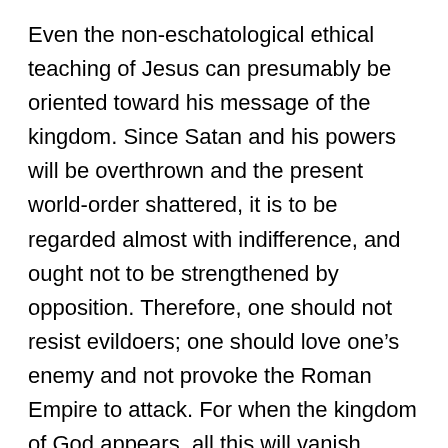Even the non-eschatological ethical teaching of Jesus can presumably be oriented toward his message of the kingdom. Since Satan and his powers will be overthrown and the present world-order shattered, it is to be regarded almost with indifference, and ought not to be strengthened by opposition. Therefore, one should not resist evildoers; one should love one’s enemy and not provoke the Roman Empire to attack. For when the kingdom of God appears, all this will vanish.
Finally, here is an excerpt from “Death,” Chapter 11 of Sage (pp. 144-145):
I am convinced that there are reliable reports that